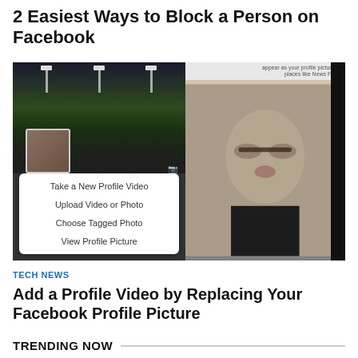2 Easiest Ways to Block a Person on Facebook
[Figure (screenshot): Screenshot showing a Facebook profile interface with a stadium background image, a profile photo thumbnail, a popup menu with options 'Take a New Profile Video', 'Upload Video or Photo', 'Choose Tagged Photo', 'View Profile Picture', and a right panel showing a person's face with camera overlay text 'appear as your profile picture in places like News Feed']
TECH NEWS
Add a Profile Video by Replacing Your Facebook Profile Picture
TRENDING NOW